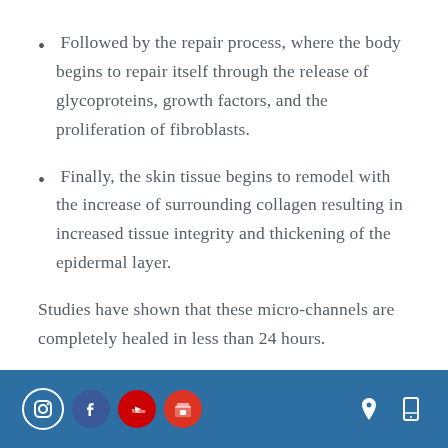Followed by the repair process, where the body begins to repair itself through the release of glycoproteins, growth factors, and the proliferation of fibroblasts.
Finally, the skin tissue begins to remodel with the increase of surrounding collagen resulting in increased tissue integrity and thickening of the epidermal layer.
Studies have shown that these micro-channels are completely healed in less than 24 hours.
Social media icons and contact/location icons